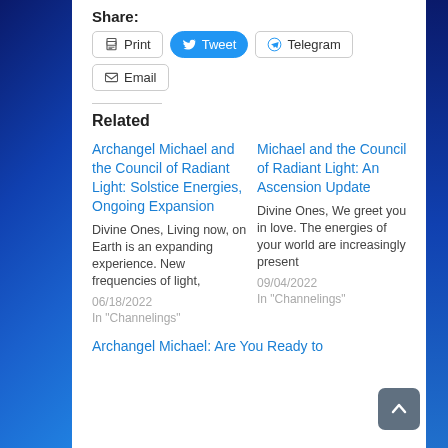Share:
Print  Tweet  Telegram  Email
Related
Archangel Michael and the Council of Radiant Light: Solstice Energies, Ongoing Expansion
Divine Ones, Living now, on Earth is an expanding experience. New frequencies of light,
06/18/2022
In "Channelings"
Michael and the Council of Radiant Light: An Ascension Update
Divine Ones, We greet you in love. The energies of your world are increasingly present
09/04/2022
In "Channelings"
Archangel Michael: Are You Ready to